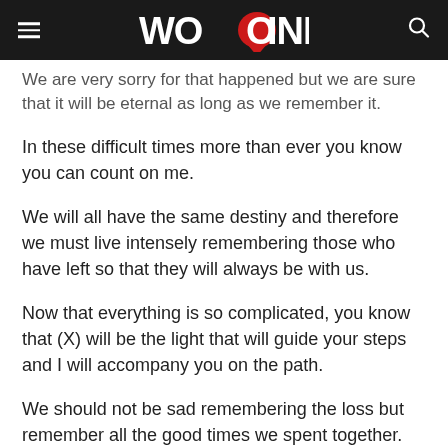WOOINFO
We are very sorry for that happened but we are sure that it will be eternal as long as we remember it.
In these difficult times more than ever you know you can count on me.
We will all have the same destiny and therefore we must live intensely remembering those who have left so that they will always be with us.
Now that everything is so complicated, you know that (X) will be the light that will guide your steps and I will accompany you on the path.
We should not be sad remembering the loss but remember all the good times we spent together.